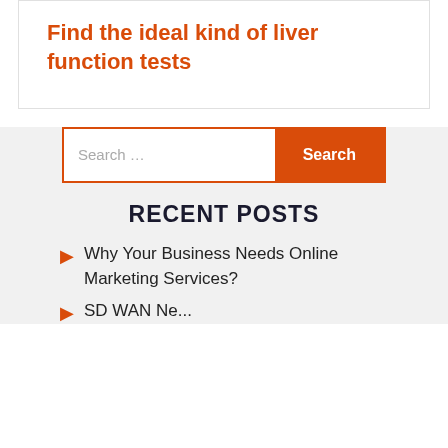Find the ideal kind of liver function tests
[Figure (screenshot): Search box with orange border and orange Search button]
RECENT POSTS
Why Your Business Needs Online Marketing Services?
SD WAN Ne...